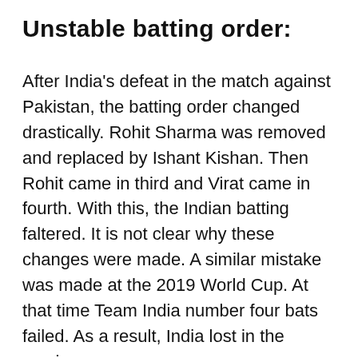Unstable batting order:
After India’s defeat in the match against Pakistan, the batting order changed drastically. Rohit Sharma was removed and replaced by Ishant Kishan. Then Rohit came in third and Virat came in fourth. With this, the Indian batting faltered. It is not clear why these changes were made. A similar mistake was made at the 2019 World Cup. At that time Team India number four bats failed. As a result, India lost in the semis.
Failed Middle Order:
The failure of the middle order was also a factor in India’s defeat. Batsmen like Rishabh Pant and Hardik Pandya did not perform as